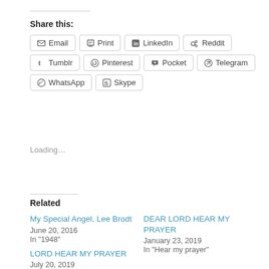Share this:
Email
Print
LinkedIn
Reddit
Tumblr
Pinterest
Pocket
Telegram
WhatsApp
Skype
Loading...
Related
My Special Angel, Lee Brodt
June 20, 2016
In "1948"
DEAR LORD HEAR MY PRAYER
January 23, 2019
In "Hear my prayer"
LORD HEAR MY PRAYER
July 20, 2019
In "I miss you"